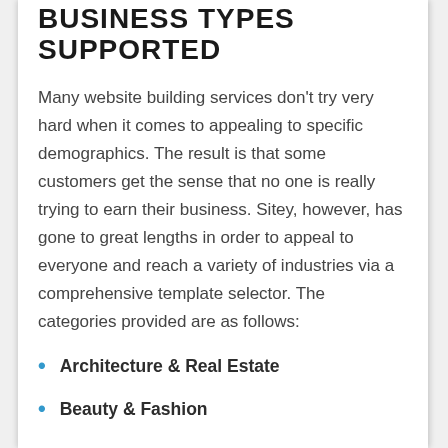BUSINESS TYPES SUPPORTED
Many website building services don't try very hard when it comes to appealing to specific demographics. The result is that some customers get the sense that no one is really trying to earn their business. Sitey, however, has gone to great lengths in order to appeal to everyone and reach a variety of industries via a comprehensive template selector. The categories provided are as follows:
Architecture & Real Estate
Beauty & Fashion